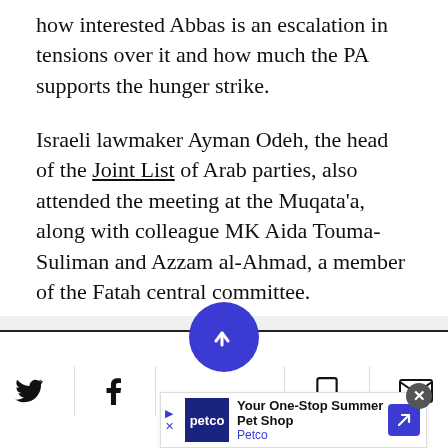how interested Abbas is an escalation in tensions over it and how much the PA supports the hunger strike.
Israeli lawmaker Ayman Odeh, the head of the Joint List of Arab parties, also attended the meeting at the Muqata'a, along with colleague MK Aida Touma-Suliman and Azzam al-Ahmad, a member of the Fatah central committee.
[Figure (other): Social share toolbar with Twitter, Facebook, bookmark, and email icons, with a circular blue Newsweek button in the center]
[Figure (other): Advertisement banner for Petco: 'Your One-Stop Summer Pet Shop' with Petco logo and a blue arrow icon]